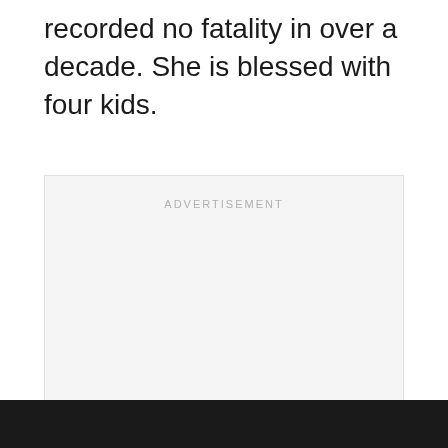recorded no fatality in over a decade. She is blessed with four kids.
[Figure (other): Advertisement placeholder box with 'ADVERTISEMENT' label at top and three gray loading dots centered in the middle]